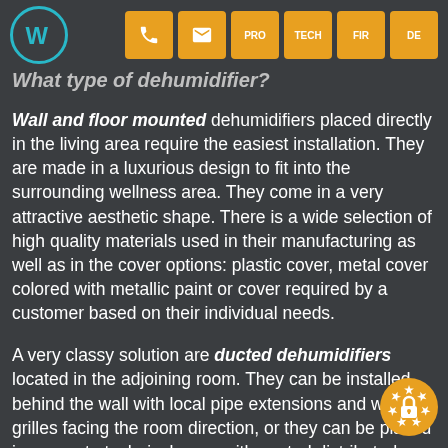What type of dehumidifier?
Wall and floor mounted dehumidifiers placed directly in the living area require the easiest installation. They are made in a luxurious design to fit into the surrounding wellness area. They come in a very attractive aesthetic shape. There is a wide selection of high quality materials used in their manufacturing as well as in the cover options: plastic cover, metal cover colored with metallic paint or cover required by a customer based on their individual needs.
A very classy solution are ducted dehumidifiers located in the adjoining room. They can be installed behind the wall with local pipe extensions and wall grilles facing the room direction, or they can be placed in a remote technical room with central distributed throughout the room with multiple c... and floor slots or grids.